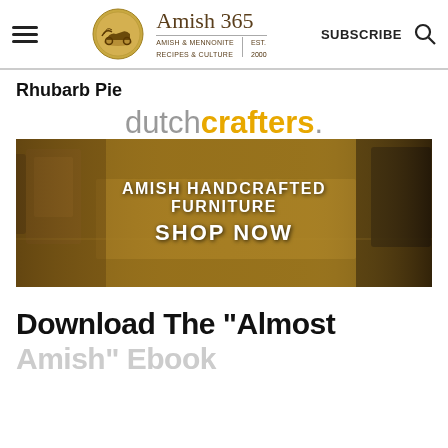Amish 365 - AMISH & MENNONITE RECIPES & CULTURE | EST. 2000
Rhubarb Pie
[Figure (advertisement): DutchCrafters advertisement banner showing Amish handcrafted furniture with text: AMISH HANDCRAFTED FURNITURE SHOP NOW]
Download The "Almost Amish" Ebook